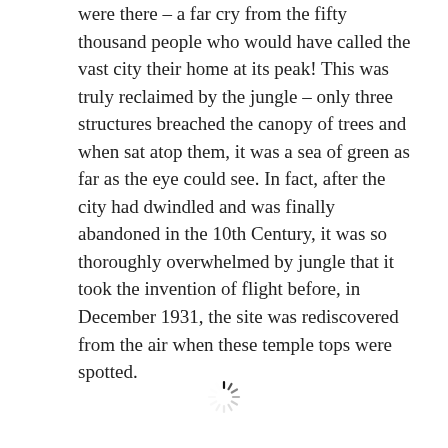were there – a far cry from the fifty thousand people who would have called the vast city their home at its peak! This was truly reclaimed by the jungle – only three structures breached the canopy of trees and when sat atop them, it was a sea of green as far as the eye could see. In fact, after the city had dwindled and was finally abandoned in the 10th Century, it was so thoroughly overwhelmed by jungle that it took the invention of flight before, in December 1931, the site was rediscovered from the air when these temple tops were spotted.
[Figure (other): Loading spinner / activity indicator graphic]